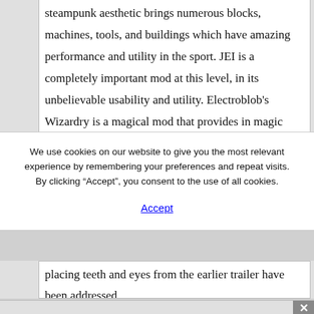steampunk aesthetic brings numerous blocks, machines, tools, and buildings which have amazing performance and utility in the sport. JEI is a completely important mod at this level, in its unbelievable usability and utility. Electroblob's Wizardry is a magical mod that provides in magic wands, wizard towers, robes, and elemental spells
We use cookies on our website to give you the most relevant experience by remembering your preferences and repeat visits. By clicking "Accept", you consent to the use of all cookies.
Accept
placing teeth and eyes from the earlier trailer have been addressed.